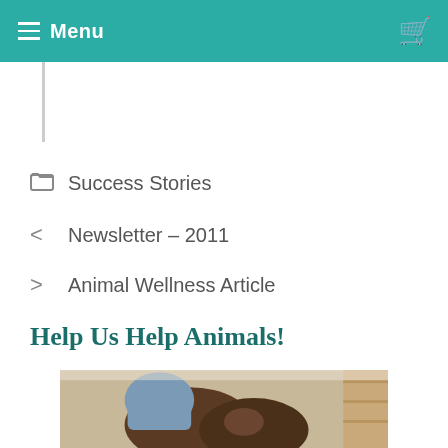Menu
Success Stories
Newsletter – 2011
Animal Wellness Article
Help Us Help Animals!
[Figure (photo): Photo of animals (dogs), partially cropped at bottom of page]